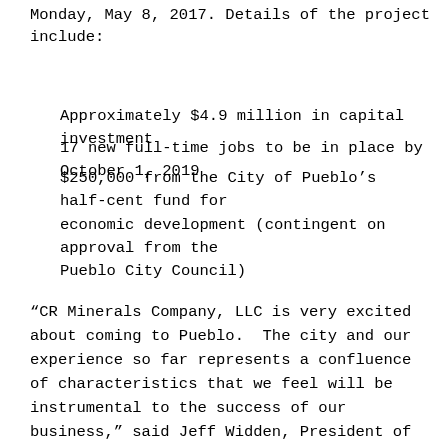Monday, May 8, 2017. Details of the project include:
Approximately $4.9 million in capital investment
17 new full-time jobs to be in place by October 1, 2019
$250,000 from the City of Pueblo’s half-cent fund for economic development (contingent on approval from the Pueblo City Council)
“CR Minerals Company, LLC is very excited about coming to Pueblo.  The city and our experience so far represents a confluence of characteristics that we feel will be instrumental to the success of our business,” said Jeff Widden, President of CR Minerals Co.  Whidden continues by saying, “For instance, PEDCO and the City have been very easy to work with as we selected our location and then progressed toward construction.  The benefits that